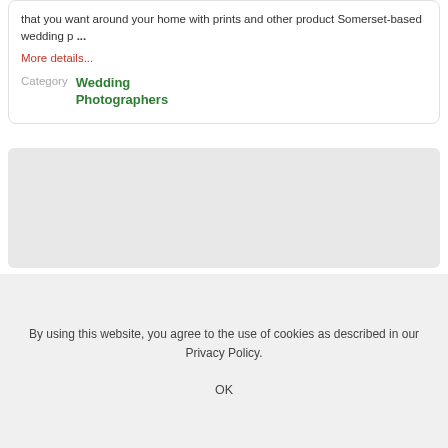that you want around your home with prints and other product Somerset-based wedding p ...
More details...
Category  Wedding Photographers
[Figure (other): Gray placeholder box representing an advertisement or image area]
By using this website, you agree to the use of cookies as described in our Privacy Policy.
OK